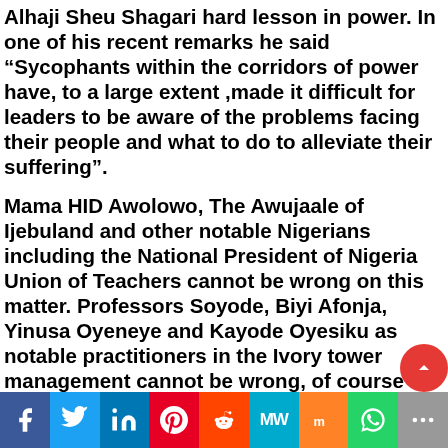Alhaji Sheu Shagari hard lesson in power. In one of his recent remarks he said “Sycophants within the corridors of power have, to a large extent ,made it difficult for leaders to be aware of the problems facing their people and what to do to alleviate their suffering”.
Mama HID Awolowo, The Awujaale of Ijebuland and other notable Nigerians including the National President of Nigeria Union of Teachers cannot be wrong on this matter. Professors Soyode, Biyi Afonja, Yinusa Oyeneye and Kayode Oyesiku as notable practitioners in the Ivory tower management cannot be wrong, of course if others are wrong
Social share bar: Facebook, Twitter, LinkedIn, Pinterest, Reddit, MW, Mix, WhatsApp, More